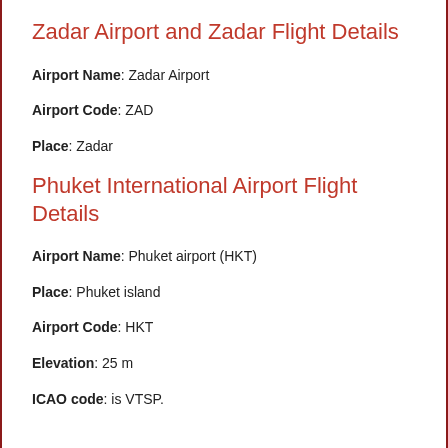Zadar Airport and Zadar Flight Details
Airport Name: Zadar Airport
Airport Code: ZAD
Place: Zadar
Phuket International Airport Flight Details
Airport Name: Phuket airport (HKT)
Place: Phuket island
Airport Code: HKT
Elevation: 25 m
ICAO code: is VTSP.